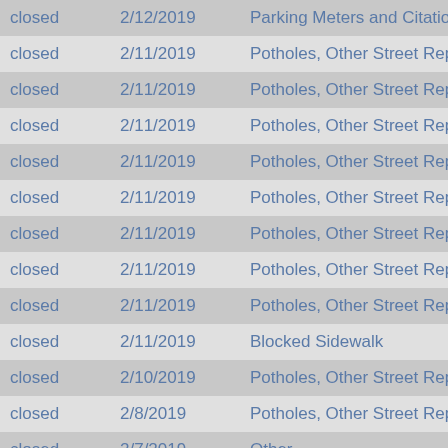| closed | 2/12/2019 | Parking Meters and Citations |
| closed | 2/11/2019 | Potholes, Other Street Repair |
| closed | 2/11/2019 | Potholes, Other Street Repair |
| closed | 2/11/2019 | Potholes, Other Street Repair |
| closed | 2/11/2019 | Potholes, Other Street Repair |
| closed | 2/11/2019 | Potholes, Other Street Repair |
| closed | 2/11/2019 | Potholes, Other Street Repair |
| closed | 2/11/2019 | Potholes, Other Street Repair |
| closed | 2/11/2019 | Potholes, Other Street Repair |
| closed | 2/11/2019 | Blocked Sidewalk |
| closed | 2/10/2019 | Potholes, Other Street Repair |
| closed | 2/8/2019 | Potholes, Other Street Repair |
| closed | 2/7/2019 | Other |